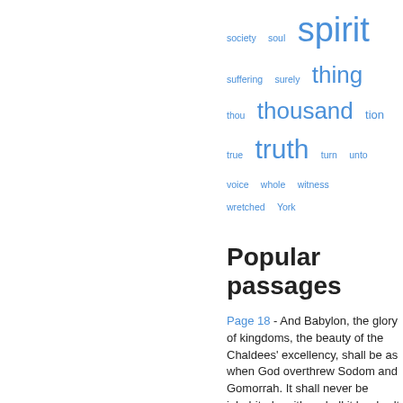[Figure (other): Word cloud showing terms of varying sizes in blue: society, soul, spirit, suffering, surely, thing, thou, thousand, tion, true, truth, turn, unto, voice, whole, witness, wretched, York]
Popular passages
Page 18 - And Babylon, the glory of kingdoms, the beauty of the Chaldees' excellency, shall be as when God overthrew Sodom and Gomorrah. It shall never be inhabited, neither shall it be dwelt in from generation to generation: